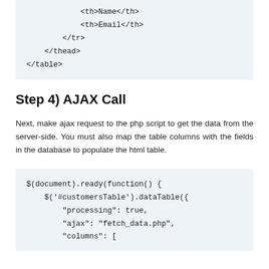<th>Name</th>
            <th>Email</th>
        </tr>
    </thead>
</table>
Step 4) AJAX Call
Next, make ajax request to the php script to get the data from the server-side. You must also map the table columns with the fields in the database to populate the html table.
$(document).ready(function() {
    $('#customersTable').dataTable({
        "processing": true,
        "ajax": "fetch_data.php",
        "columns": [